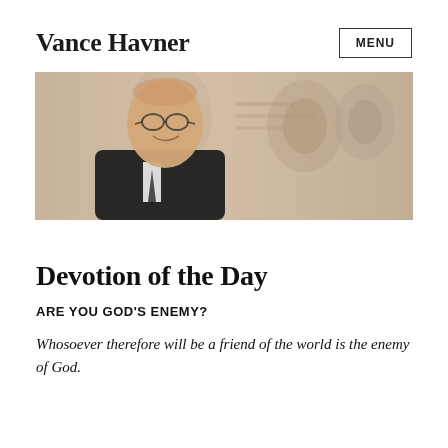Vance Havner
[Figure (photo): Sepia-toned banner photo of Vance Havner, an elderly man in a dark suit with glasses, smiling, with faded background images of the same person]
Devotion of the Day
ARE YOU GOD'S ENEMY?
Whosoever therefore will be a friend of the world is the enemy of God.